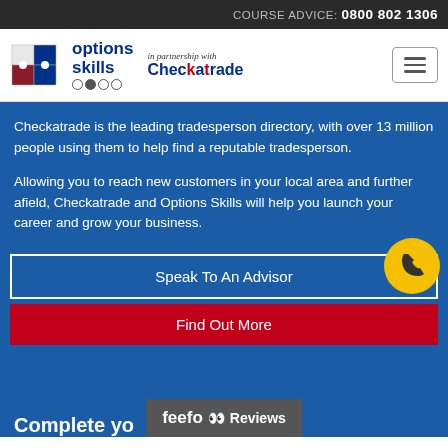COURSE ADVICE: 0800 802 1306
[Figure (logo): Options Skills logo with puzzle piece graphic and 'in partnership with Checkatrade' branding]
Checkatrade is the leading tradesperson directory, with over 13 million people using them to help find a reputable tradesperson.
Allowing you to reach new customers in your local area and further afield, Checkatrade and Options Skills will help you launch your career and grow your business.
Speak To An Advisor
Find Out More
Complete yo...
[Figure (logo): Feefo Reviews badge]